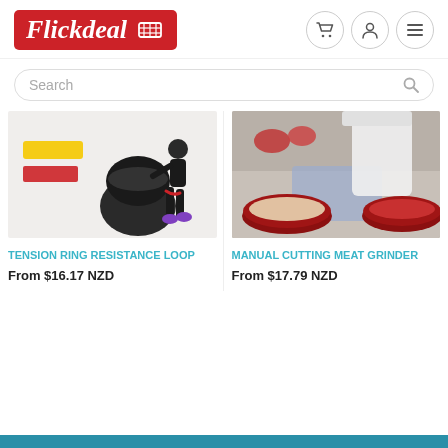[Figure (logo): Flickdeal logo on red background with shopping cart icon]
[Figure (infographic): Header navigation icons: cart, user profile, hamburger menu]
Search
[Figure (photo): Product image: resistance loop bands with a woman exercising, yellow and red bands visible, black bag]
TENSION RING RESISTANCE LOOP
From $16.17 NZD
[Figure (photo): Product image: Manual cutting meat grinder with red bowls of minced food, glass jar]
MANUAL CUTTING MEAT GRINDER
From $17.79 NZD